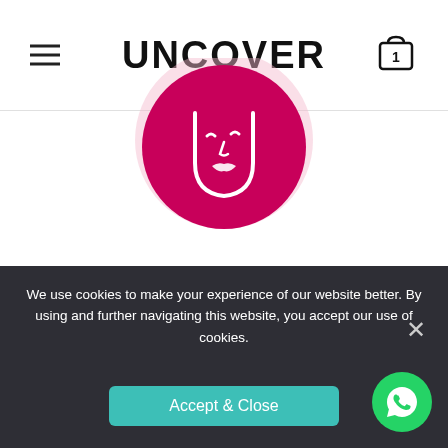UNCOVER
[Figure (logo): Uncover brand logo: magenta/pink circle with white line art of a face silhouette]
[Figure (infographic): 5 gold star rating]
“For sure Vitamin C Sheet Mask brightens your skin not lightens but brightens your gorgeous
We use cookies to make your experience of our website better. By using and further navigating this website, you accept our use of cookies.
Accept & Close